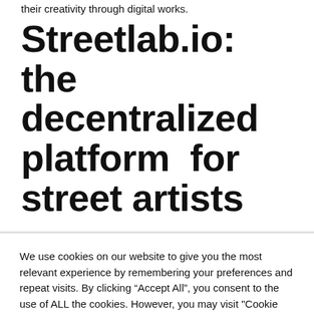their creativity through digital works.
Streetlab.io: the decentralized platform for street artists
We use cookies on our website to give you the most relevant experience by remembering your preferences and repeat visits. By clicking “Accept All”, you consent to the use of ALL the cookies. However, you may visit "Cookie Settings" to provide a controlled consent.